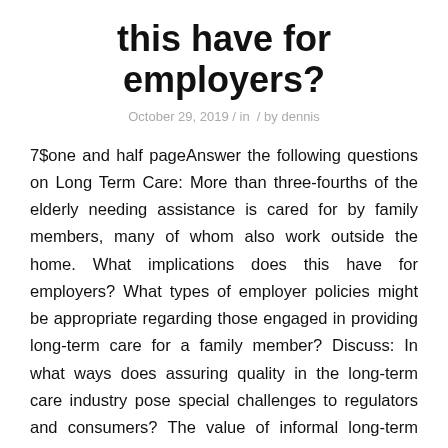this have for employers?
October 29, 2019 / in / by dennis
7$one and half pageAnswer the following questions on Long Term Care: More than three-fourths of the elderly needing assistance is cared for by family members, many of whom also work outside the home. What implications does this have for employers? What types of employer policies might be appropriate regarding those engaged in providing long-term care for a family member? Discuss: In what ways does assuring quality in the long-term care industry pose special challenges to regulators and consumers? The value of informal long-term care provided by family members and friends is estimated at over $450 billion annually, more than double the national expenditures for skilled nursing and home care combined. Much of this cost would fall to government if it